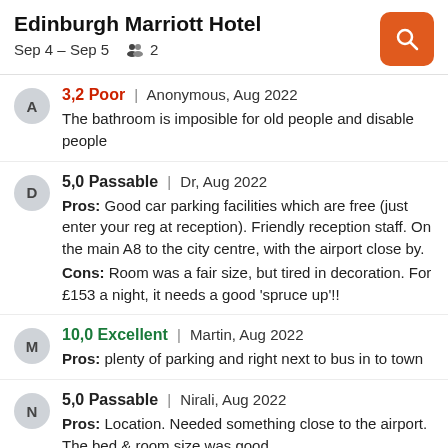Edinburgh Marriott Hotel
Sep 4 – Sep 5   2
3,2 Poor | Anonymous, Aug 2022
The bathroom is imposible for old people and disable people
5,0 Passable | Dr, Aug 2022
Pros: Good car parking facilities which are free (just enter your reg at reception). Friendly reception staff. On the main A8 to the city centre, with the airport close by.
Cons: Room was a fair size, but tired in decoration. For £153 a night, it needs a good 'spruce up'!!
10,0 Excellent | Martin, Aug 2022
Pros: plenty of parking and right next to bus in to town
5,0 Passable | Nirali, Aug 2022
Pros: Location. Needed something close to the airport. The bed & room size was good
Cons: The food in general. Had breakfast & dinner. Both were pretty sub standard. For e.g. the bread & cheese for breakfast was dry & stale. No one from house keeping or reception